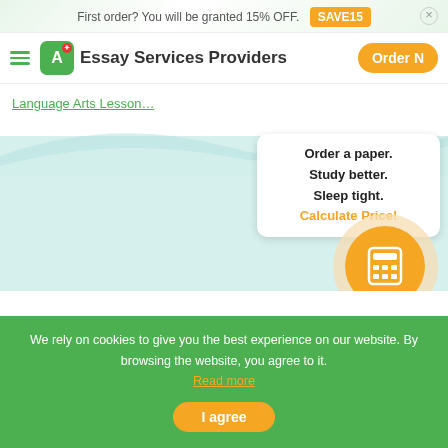First order? You will be granted 15% OFF. SAVE15
Essay Services Providers  Order Now
Language Arts Lesson...
Order a paper. Study better. Sleep tight. Calculate Price!
Calculate Price
We rely on cookies to give you the best experience on our website. By browsing the website, you agree to it. Read more
I agree